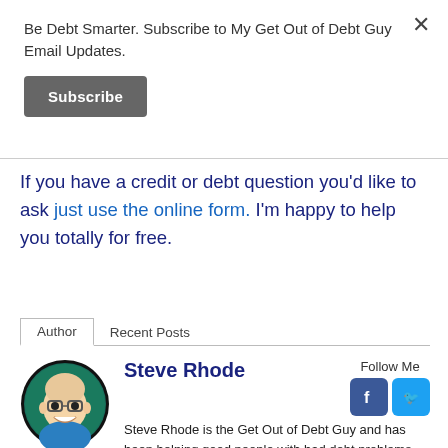Be Debt Smarter. Subscribe to My Get Out of Debt Guy Email Updates.
Subscribe
If you have a credit or debt question you'd like to ask just use the online form. I'm happy to help you totally for free.
Author   Recent Posts
Steve Rhode
Follow Me
Steve Rhode is the Get Out of Debt Guy and has been helping good people with bad debt problems since 1994. You can learn more about Steve.